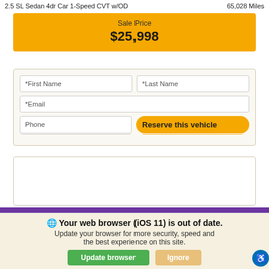2.5 SL Sedan 4dr Car 1-Speed CVT w/OD    65,028 Miles
Sale Price
$25,998
*First Name   *Last Name   *Email   Phone   Reserve this vehicle
We use cookies to optimize our website and our service.
Cookie Policy · Privacy Statement
Your web browser (iOS 11) is out of date. Update your browser for more security, speed and the best experience on this site.
Update browser   Ignore